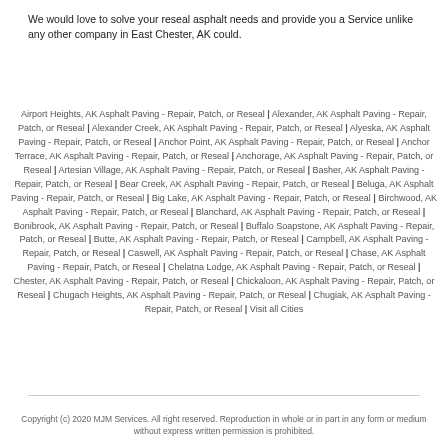We would love to solve your reseal asphalt needs and provide you a Service unlike any other company in East Chester, AK could.
Airport Heights, AK Asphalt Paving - Repair, Patch, or Reseal | Alexander, AK Asphalt Paving - Repair, Patch, or Reseal | Alexander Creek, AK Asphalt Paving - Repair, Patch, or Reseal | Alyeska, AK Asphalt Paving - Repair, Patch, or Reseal | Anchor Point, AK Asphalt Paving - Repair, Patch, or Reseal | Anchor Terrace, AK Asphalt Paving - Repair, Patch, or Reseal | Anchorage, AK Asphalt Paving - Repair, Patch, or Reseal | Artesian Village, AK Asphalt Paving - Repair, Patch, or Reseal | Basher, AK Asphalt Paving - Repair, Patch, or Reseal | Bear Creek, AK Asphalt Paving - Repair, Patch, or Reseal | Beluga, AK Asphalt Paving - Repair, Patch, or Reseal | Big Lake, AK Asphalt Paving - Repair, Patch, or Reseal | Birchwood, AK Asphalt Paving - Repair, Patch, or Reseal | Blanchard, AK Asphalt Paving - Repair, Patch, or Reseal | Bonibrook, AK Asphalt Paving - Repair, Patch, or Reseal | Buffalo Soapstone, AK Asphalt Paving - Repair, Patch, or Reseal | Butte, AK Asphalt Paving - Repair, Patch, or Reseal | Campbell, AK Asphalt Paving - Repair, Patch, or Reseal | Caswell, AK Asphalt Paving - Repair, Patch, or Reseal | Chase, AK Asphalt Paving - Repair, Patch, or Reseal | Chelatna Lodge, AK Asphalt Paving - Repair, Patch, or Reseal | Chester, AK Asphalt Paving - Repair, Patch, or Reseal | Chickaloon, AK Asphalt Paving - Repair, Patch, or Reseal | Chugach Heights, AK Asphalt Paving - Repair, Patch, or Reseal | Chugiak, AK Asphalt Paving - Repair, Patch, or Reseal | Visit all Cities
Copyright (c) 2020 MJM Services. All right reserved. Reproduction in whole or in part in any form or medium without express written permission is prohibited.